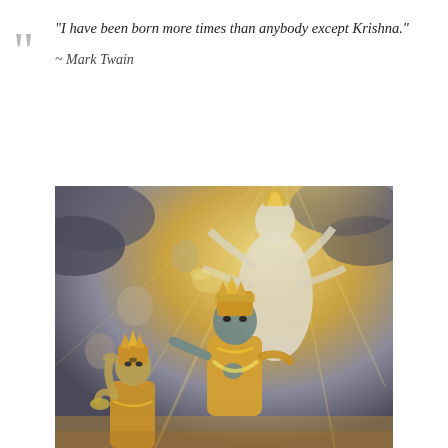“I have been born more times than anybody except Krishna.”
~ Mark Twain
[Figure (illustration): Hindu religious painting depicting Krishna (in golden attire with crown) and a large multi-armed cosmic form of Vishnu emanating rays of light, with Arjuna in golden armor kneeling/looking upward in devotion. Golden and grey tones dominate the composition.]